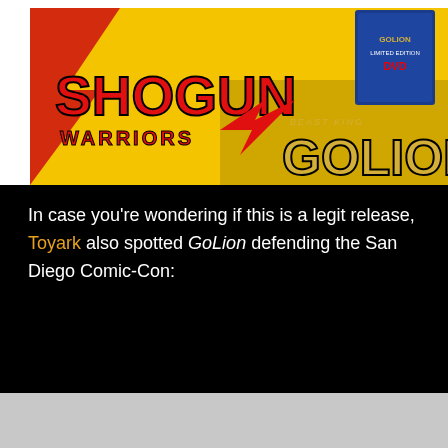[Figure (photo): Shogun Warriors GoLion Beast King DVD box set product image on a yellow background with red lightning bolt design. DVD box visible in upper right corner with blue Golion branding.]
In case you're wondering if this is a legit release, Toyark also spotted GoLion defending the San Diego Comic-Con: